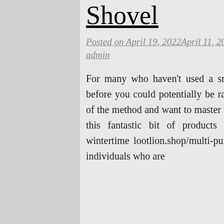Shovel
Posted on April 19, 2022April 11, 2022 by admin
For many who haven't used a snow blower thrower right before you could potentially be rather fascinated as a result of the method and want to master much more regarding how this fantastic bit of products will let you inside the wintertime lootlion.shop/multi-purpose-folding-shovel/. For individuals who are
Can A Tree Assistance Do? Nutriologos en Tijuana – Adelgazar Por medios naturales Regular Dental Organizations Driving